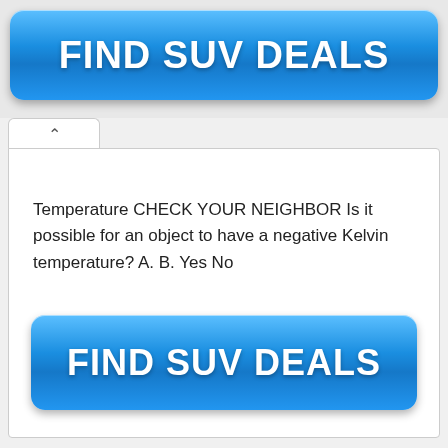[Figure (screenshot): Blue 'FIND SUV DEALS' button at the top of the page]
Temperature CHECK YOUR NEIGHBOR Is it possible for an object to have a negative Kelvin temperature? A. B. Yes No
[Figure (screenshot): Blue 'FIND SUV DEALS' button at the bottom of the page]